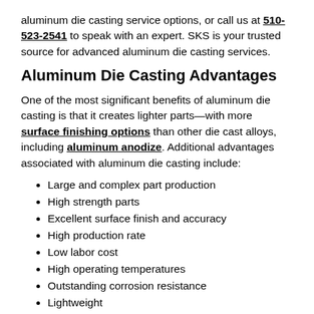aluminum die casting service options, or call us at 510-523-2541 to speak with an expert. SKS is your trusted source for advanced aluminum die casting services.
Aluminum Die Casting Advantages
One of the most significant benefits of aluminum die casting is that it creates lighter parts—with more surface finishing options than other die cast alloys, including aluminum anodize. Additional advantages associated with aluminum die casting include:
Large and complex part production
High strength parts
Excellent surface finish and accuracy
High production rate
Low labor cost
High operating temperatures
Outstanding corrosion resistance
Lightweight